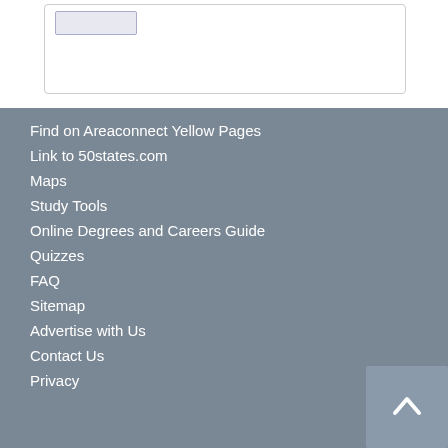[Figure (screenshot): Top portion of a webpage with a white background showing a small UI element box with a blue/grey button inside, surrounded by a light grey rounded border box.]
Find on Areaconnect Yellow Pages
Link to 50states.com
Maps
Study Tools
Online Degrees and Careers Guide
Quizzes
FAQ
Sitemap
Advertise with Us
Contact Us
Privacy
[Figure (other): Back to top button with upward chevron arrow icon, dark grey square button in bottom right corner.]